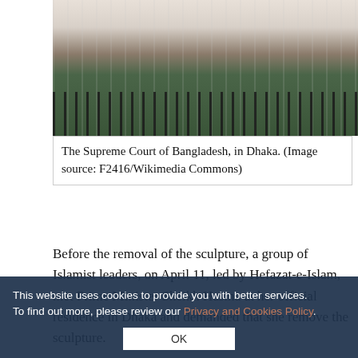[Figure (photo): Photograph of the Supreme Court of Bangladesh building in Dhaka, showing a white colonial-style building with black iron fence in front and trees visible.]
The Supreme Court of Bangladesh, in Dhaka. (Image source: F2416/Wikimedia Commons)
Before the removal of the sculpture, a group of Islamist leaders, on April 11, led by Hefazat-e-Islam, met Prime Minister Sheikh Hasina at her official residence in Dhaka and demanded that she remove the sculpture.
"I don't like it myself," the prime minister said. "It is being called a Greek statue, but how will a Greek statue get here?"
She also said, "Have patience. I will do whatever I can. Have patience and don't create a situation about the issue. Have some faith in me; I will do whatever necessary about the matter." In the same meeting, she also
This website uses cookies to provide you with better services. To find out more, please review our Privacy and Cookies Policy.
OK